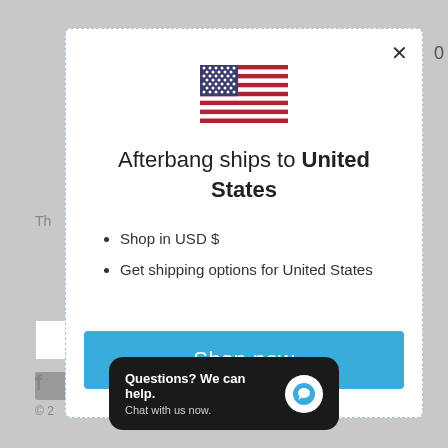[Figure (screenshot): Screenshot of a website modal dialog on a gray background. Modal shows a US flag, shipping message, bullet points, and a Shop now button. A chat widget appears at the bottom.]
Afterbang ships to United States
Shop in USD $
Get shipping options for United States
Shop now
Questions? We can help. Chat with us now.